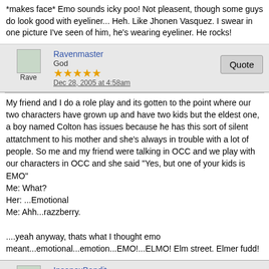*makes face* Emo sounds icky poo! Not pleasent, though some guys do look good with eyeliner... Heh. Like Jhonen Vasquez. I swear in one picture I've seen of him, he's wearing eyeliner. He rocks!
Ravenmaster
God
★★★★★
Dec 28, 2005 at 4:58am
My friend and I do a role play and its gotten to the point where our two characters have grown up and have two kids but the eldest one, a boy named Colton has issues because he has this sort of silent attatchment to his mother and she's always in trouble with a lot of people. So me and my friend were talking in OCC and we play with our characters in OCC and she said "Yes, but one of your kids is EMO"
Me: What?
Her: ...Emotional
Me: Ahh...razzberry.

....yeah anyway, thats what I thought emo meant...emotional...emotion...EMO!...ELMO! Elm street. Elmer fudd!
InsanexBandit
Senior Member
★★★★